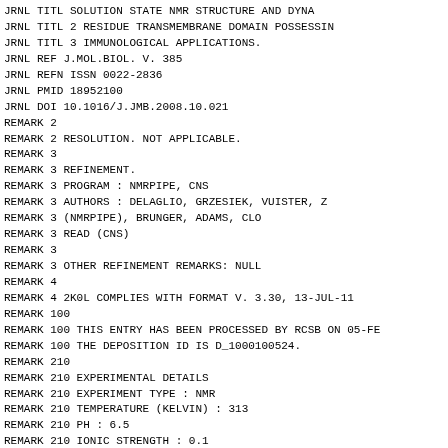JRNL        TITL   SOLUTION STATE NMR STRUCTURE AND DYNA
JRNL        TITL 2 RESIDUE TRANSMEMBRANE DOMAIN POSSESSIN
JRNL        TITL 3 IMMUNOLOGICAL APPLICATIONS.
JRNL        REF    J.MOL.BIOL.                 V. 385
JRNL        REFN                    ISSN 0022-2836
JRNL        PMID   18952100
JRNL        DOI    10.1016/J.JMB.2008.10.021
REMARK   2
REMARK   2 RESOLUTION. NOT APPLICABLE.
REMARK   3
REMARK   3 REFINEMENT.
REMARK   3   PROGRAM     : NMRPIPE, CNS
REMARK   3   AUTHORS     : DELAGLIO, GRZESIEK, VUISTER, Z
REMARK   3               (NMRPIPE), BRUNGER, ADAMS, CLO
REMARK   3               READ (CNS)
REMARK   3
REMARK   3 OTHER REFINEMENT REMARKS: NULL
REMARK   4
REMARK   4 2K0L COMPLIES WITH FORMAT V. 3.30, 13-JUL-11
REMARK 100
REMARK 100 THIS ENTRY HAS BEEN PROCESSED BY RCSB ON 05-FE
REMARK 100 THE DEPOSITION ID IS D_1000100524.
REMARK 210
REMARK 210 EXPERIMENTAL DETAILS
REMARK 210  EXPERIMENT TYPE                    : NMR
REMARK 210  TEMPERATURE            (KELVIN) : 313
REMARK 210  PH                                  : 6.5
REMARK 210  IONIC STRENGTH                      : 0.1
REMARK 210  PRESSURE                            : AMBIENT
REMARK 210  SAMPLE CONTENTS                     : 1 MM [U-13C
REMARK 210                                          TRANSMEMBRA